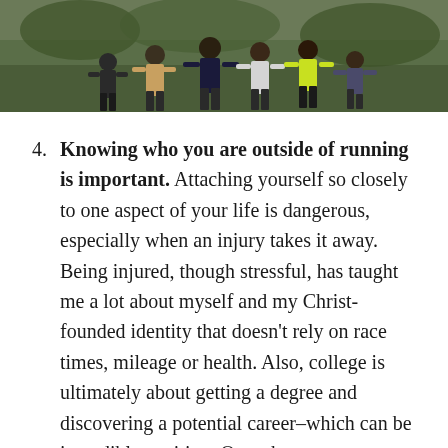[Figure (photo): A group of athletes/runners posing on a grass field, partially visible at the top of the page. The image is cropped showing only the bottom half of the group.]
4. Knowing who you are outside of running is important. Attaching yourself so closely to one aspect of your life is dangerous, especially when an injury takes it away. Being injured, though stressful, has taught me a lot about myself and my Christ-founded identity that doesn't rely on race times, mileage or health. Also, college is ultimately about getting a degree and discovering a potential career–which can be incredibly exciting. Over the past two years, my slight interest in journalism has